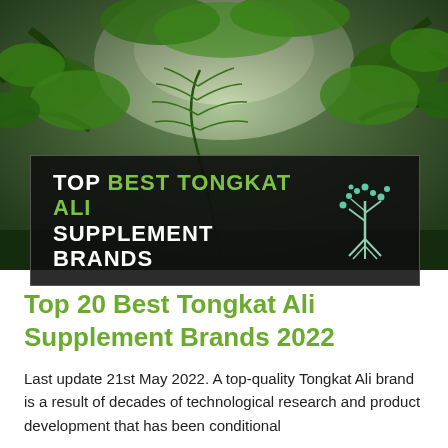[Figure (photo): Lush green tropical forest canopy photographed from below, showing dense fern fronds and leafy branches against a bright sky, with dark vignette edges]
TOP BEST TONGKAT ALI SUPPLEMENT BRANDS
Top 20 Best Tongkat Ali Supplement Brands 2022
Last update 21st May 2022. A top-quality Tongkat Ali brand is a result of decades of technological research and product development that has been conditional...